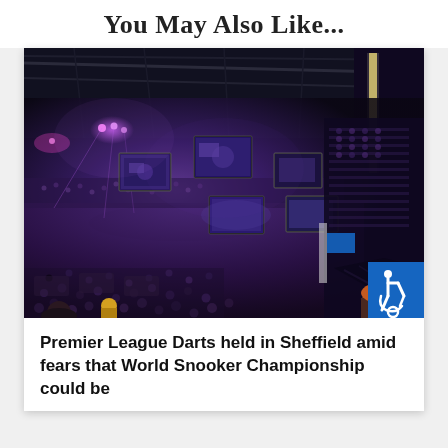You May Also Like...
[Figure (photo): Wide-angle photo of a packed indoor arena during a Premier League Darts event. The venue is dimly lit with purple and blue stage lighting. Multiple large video screens are visible above the stage area at the far end. The crowd fills every seat across multiple levels. A blue accessibility wheelchair symbol badge is visible in the lower right corner of the image.]
Premier League Darts held in Sheffield amid fears that World Snooker Championship could be